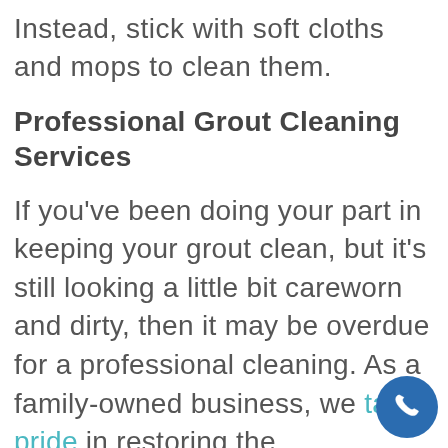Instead, stick with soft cloths and mops to clean them.
Professional Grout Cleaning Services
If you've been doing your part in keeping your grout clean, but it's still looking a little bit careworn and dirty, then it may be overdue for a professional cleaning. As a family-owned business, we take pride in restoring the appearance of your grout and tiles to help keep it looking its very best. To